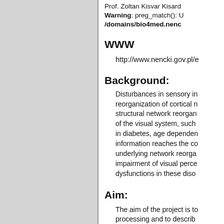Prof. Zoltan Kisvar Kisard... Warning: preg_match(): U /domains/bio4med.nenc...
WWW
http://www.nencki.gov.pl/e
Background:
Disturbances in sensory in reorganization of cortical n structural network reorgan of the visual system, such in diabetes, age dependen information reaches the co underlying network reorga impairment of visual perce dysfunctions in these diso
Aim:
The aim of the project is to processing and to describ circuits after disturbance o to answer the question, ho